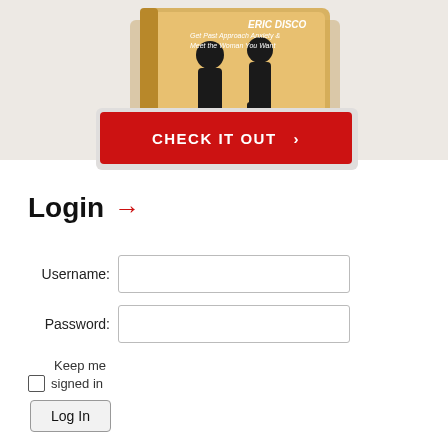[Figure (photo): Book cover for an Eric Disco product about overcoming approach anxiety and meeting women, shown as a 3D book on a wooden floor background]
CHECK IT OUT >
Login →
Username:
Password:
Keep me signed in
Log In